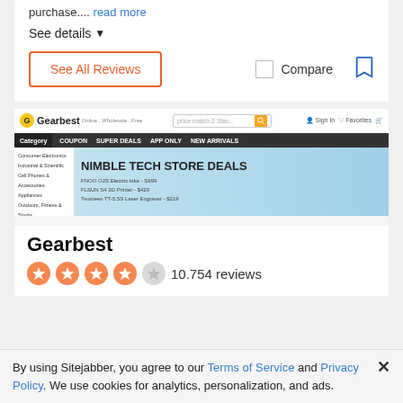purchase.... read more
See details ▼
See All Reviews
Compare
[Figure (screenshot): Gearbest website screenshot showing the homepage with logo, search bar, navigation bar with Category, Coupon, Super Deals, App Only, New Arrivals, and a promotional banner reading NIMBLE TECH STORE DEALS with product listings.]
Gearbest
10.754 reviews
By using Sitejabber, you agree to our Terms of Service and Privacy Policy. We use cookies for analytics, personalization, and ads.